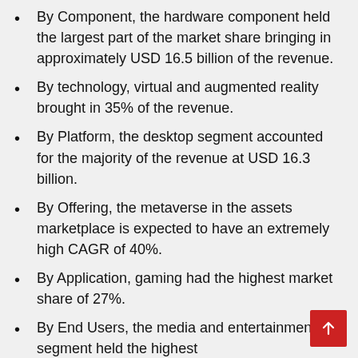By Component, the hardware component held the largest part of the market share bringing in approximately USD 16.5 billion of the revenue.
By technology, virtual and augmented reality brought in 35% of the revenue.
By Platform, the desktop segment accounted for the majority of the revenue at USD 16.3 billion.
By Offering, the metaverse in the assets marketplace is expected to have an extremely high CAGR of 40%.
By Application, gaming had the highest market share of 27%.
By End Users, the media and entertainment segment held the highest